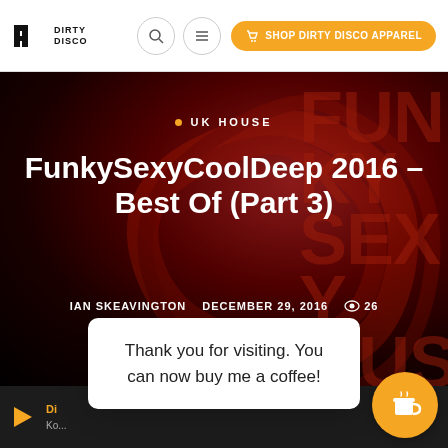Dirty Disco | SHOP DIRTY DISCO APPAREL
[Figure (screenshot): Website hero image with dark red swirling background and watermark text FUNKY SEXY MUSIC]
FunkySexyCoolDeep 2016 – Best Of (Part 3)
• UK HOUSE
IAN SKEAVINGTON  DECEMBER 29, 2016  👁 26
Thank you for visiting. You can now buy me a coffee!